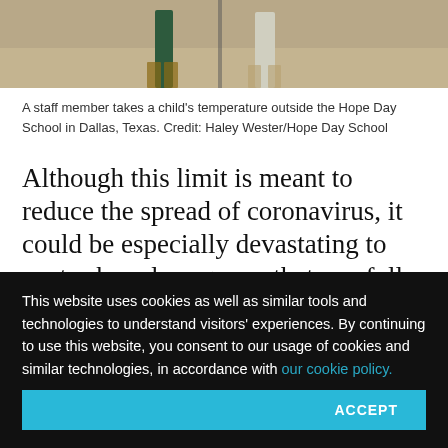[Figure (photo): A staff member takes a child's temperature outside the Hope Day School in Dallas, Texas. Feet and lower legs of two people visible on an outdoor pavement area.]
A staff member takes a child's temperature outside the Hope Day School in Dallas, Texas. Credit: Haley Wester/Hope Day School
Although this limit is meant to reduce the spread of coronavirus, it could be especially devastating to center-based programs that carefully balance how many children in various age groups they can serve in order to make a profit. Centers typically earn most of their
This website uses cookies as well as similar tools and technologies to understand visitors' experiences. By continuing to use this website, you consent to our usage of cookies and similar technologies, in accordance with our cookie policy.